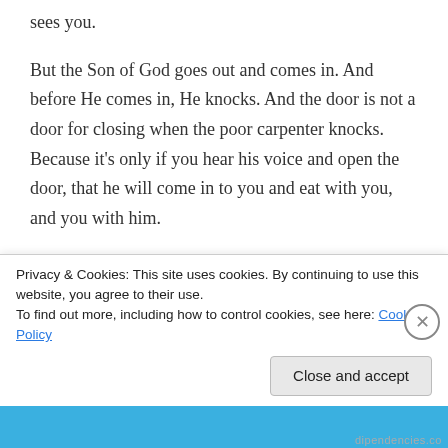sees you.
But the Son of God goes out and comes in. And before He comes in, He knocks. And the door is not a door for closing when the poor carpenter knocks. Because it’s only if you hear his voice and open the door, that he will come in to you and eat with you, and you with him.
And do you know what? He will not come in alone. He will bring his friends with him, they will all come crowding in, to the table that the poor carpenter made, the table which reaches into your own room, your own
Privacy & Cookies: This site uses cookies. By continuing to use this website, you agree to their use.
To find out more, including how to control cookies, see here: Cookie Policy
Close and accept